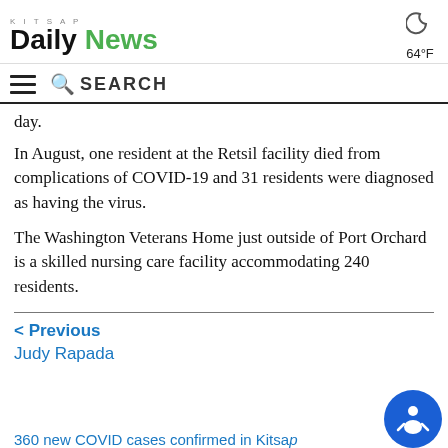Kitsap Daily News — 64°F
day.
In August, one resident at the Retsil facility died from complications of COVID-19 and 31 residents were diagnosed as having the virus.
The Washington Veterans Home just outside of Port Orchard is a skilled nursing care facility accommodating 240 residents.
< Previous
Judy Rapada
360 new COVID cases confirmed in Kitsap